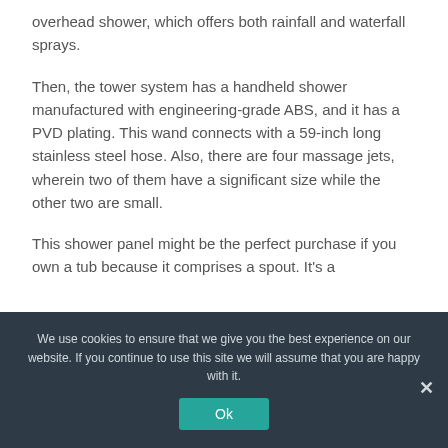overhead shower, which offers both rainfall and waterfall sprays.
Then, the tower system has a handheld shower manufactured with engineering-grade ABS, and it has a PVD plating. This wand connects with a 59-inch long stainless steel hose. Also, there are four massage jets, wherein two of them have a significant size while the other two are small.
This shower panel might be the perfect purchase if you own a tub because it comprises a spout. It's a
We use cookies to ensure that we give you the best experience on our website. If you continue to use this site we will assume that you are happy with it.